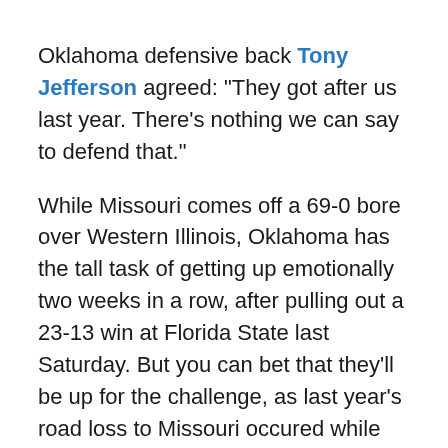Oklahoma defensive back Tony Jefferson agreed: "They got after us last year. There's nothing we can say to defend that."
While Missouri comes off a 69-0 bore over Western Illinois, Oklahoma has the tall task of getting up emotionally two weeks in a row, after pulling out a 23-13 win at Florida State last Saturday. But you can bet that they'll be up for the challenge, as last year's road loss to Missouri occured while Oklahoma sat on top of the Bowl Championship Series standings.
Missouri Offense vs. Oklahoma Defense